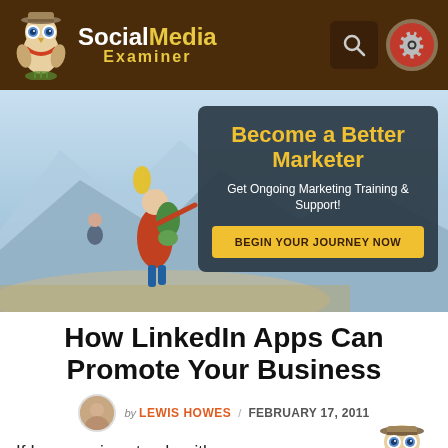[Figure (logo): Social Media Examiner logo with owl mascot character on dark brown background header]
[Figure (infographic): Hero banner showing hikers on mountainous landscape with dark overlay panel advertising 'Become a Better Marketer' with CTA button 'BEGIN YOUR JOURNEY NOW']
How LinkedIn Apps Can Promote Your Business
by LEWIS HOWES / FEBRUARY 17, 2011
If I were going steady with any social networking site, I